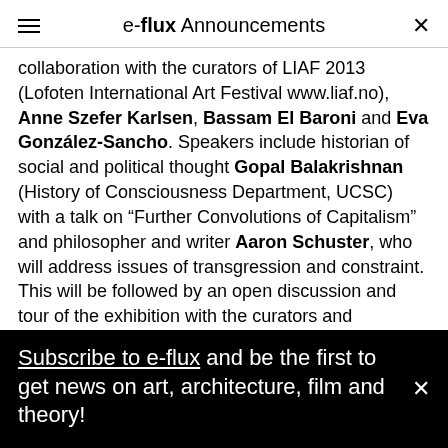e-flux Announcements
collaboration with the curators of LIAF 2013 (Lofoten International Art Festival www.liaf.no), Anne Szefer Karlsen, Bassam El Baroni and Eva González-Sancho. Speakers include historian of social and political thought Gopal Balakrishnan (History of Consciousness Department, UCSC) with a talk on “Further Convolutions of Capitalism” and philosopher and writer Aaron Schuster, who will address issues of transgression and constraint. This will be followed by an open discussion and tour of the exhibition with the curators and represented artists of WINTER, Kamilla Kurmanbekova & Erlan Tuyakov, Anton Bodin & Sergey Chutkov, Aza
Subscribe to e-flux and be the first to get news on art, architecture, film and theory!